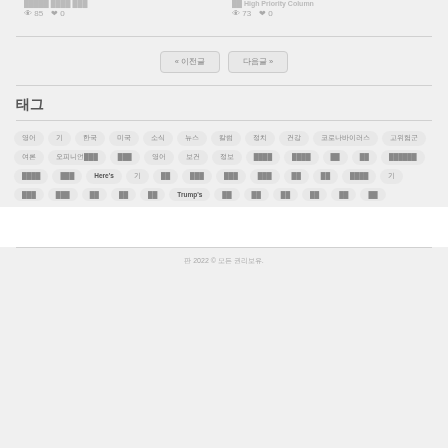85 views 0 likes | 73 views 0 likes
« 이전글 | 다음글 »
태그
Tags: 영어 기 한국 미국 소식 뉴스 칼럼 정치 건강 코로나바이러스 고위험군 여론 오피니언 Here's 기 언론 보건 정보 경제 약 다음 미국 미국 Trump's 한국 소식 여론 뉴스 칼럼
© 2022 © 모든 권리보유.